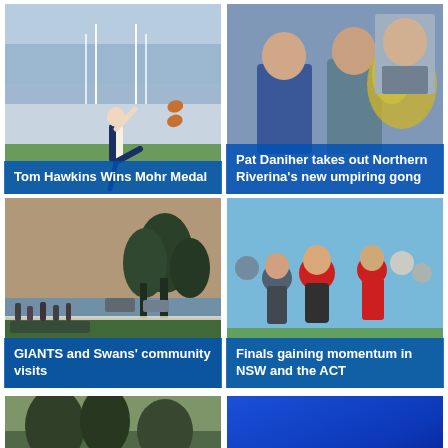[Figure (photo): AFL footballer Tom Hawkins kicking a football on the field, Geelong stadium with crowd in background]
Tom Hawkins Wins Mohr Medal
[Figure (photo): Two men standing together, Pat Daniher and an older man, at an outdoor event. Yellow flowering shrub visible in background.]
Pat Daniher takes out Northern Riverina's new umpiring gong
[Figure (photo): Community football event at dusk/evening, people seated and standing on the grass sideline of an oval, trees in background]
GIANTS and Swans' community visits
[Figure (photo): Group of young children in AFL gear, one wearing a red Sydney Swans cap, at a community football event outdoors]
Finals gaining momentum in NSW and the ACT
[Figure (photo): Partial bottom row: left image shows outdoor scene with vegetation and a football visible, right image shows blue gradient/background]